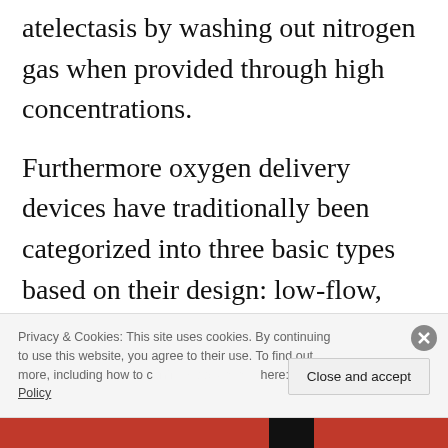atelectasis by washing out nitrogen gas when provided through high concentrations.
Furthermore oxygen delivery devices have traditionally been categorized into three basic types based on their design: low-flow, reservoir, and high-flow.
Privacy & Cookies: This site uses cookies. By continuing to use this website, you agree to their use. To find out more, including how to control cookies, see here: Cookie Policy